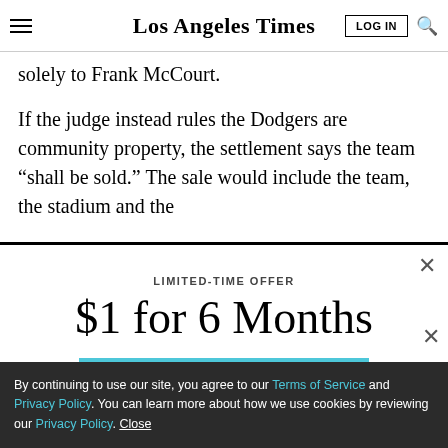Los Angeles Times
solely to Frank McCourt.
If the judge instead rules the Dodgers are community property, the settlement says the team “shall be sold.” The sale would include the team, the stadium and the
LIMITED-TIME OFFER
$1 for 6 Months
SUBSCRIBE NOW
By continuing to use our site, you agree to our Terms of Service and Privacy Policy. You can learn more about how we use cookies by reviewing our Privacy Policy. Close